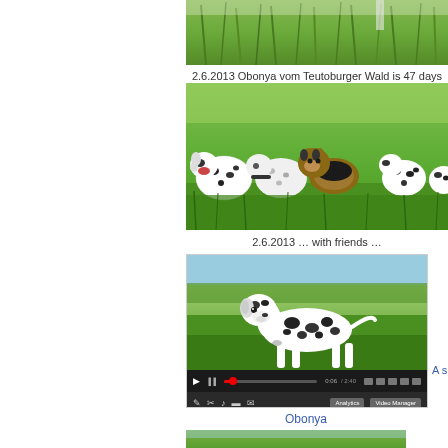[Figure (photo): Top-cropped photo showing green grass field with tall grass, appears to be top portion of a dog photo]
2.6.2013 Obonya vom Teutoburger Wald is 47 days
[Figure (photo): Group photo of several Dalmatian dogs and a German Shepherd dog lying together on green grass]
2.6.2013 … with friends …
[Figure (screenshot): Screenshot of a YouTube video player showing a Dalmatian dog standing on green grass, with video controls and management buttons]
Obonya
A short f
[Figure (photo): Bottom-cropped photo of a green grass field, appears to be the start of another dog photo]